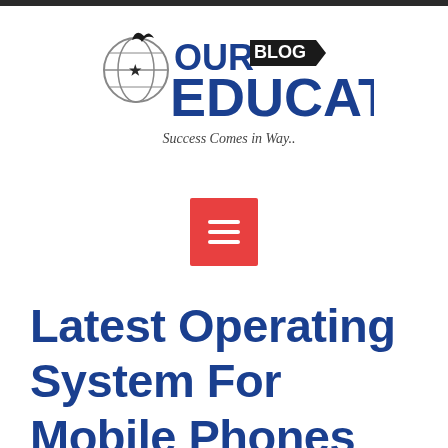[Figure (logo): Our Education Blog logo with eagle/globe icon, 'OUR BLOG' text with banner, 'EDUCATION' in large blue text, tagline 'Success Comes in Way..']
[Figure (other): Red square hamburger/menu button with three white horizontal lines]
Latest Operating System For Mobile Phones